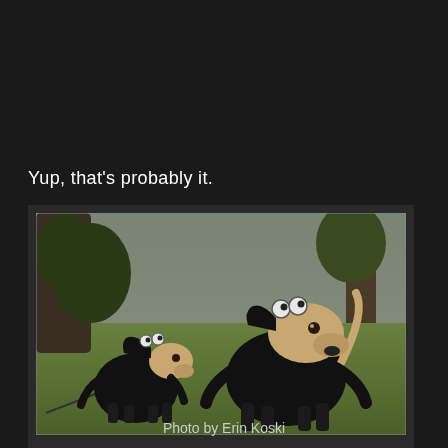Yup, that's probably it.
[Figure (photo): Two small dogs dressed in black monkey/alien costumes standing on grass in a park. The smaller dog is on a leash on the left, and a larger dog stands on the right. Both wear black outfits with googly eyes on top of their heads.]
Photo by Erin Koski